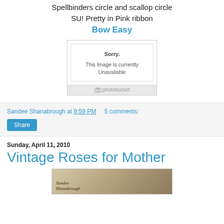Spellbinders circle and scallop circle
SU! Pretty in Pink ribbon
Bow Easy
[Figure (other): Photobucket image placeholder showing 'Sorry. This Image Is currently Unavailable' with Photobucket logo]
Sandee Shanabrough at 9:59 PM    5 comments:
Share
Sunday, April 11, 2010
Vintage Roses for Mother
[Figure (photo): Partial view of a card or artwork with 'Sandee Shanabrough' handwritten text on aged/vintage background]